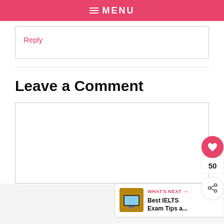☰ MENU
Reply
Leave a Comment
[Figure (other): Empty comment text area input box]
[Figure (infographic): Floating action buttons: heart/like button with count 50, and share button]
[Figure (other): What's Next banner showing Best IELTS Exam Tips a... with laptop thumbnail image]